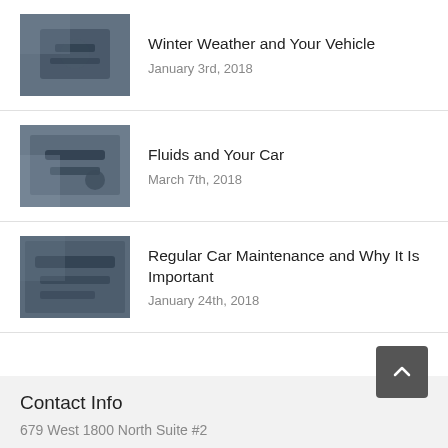Winter Weather and Your Vehicle
January 3rd, 2018
Fluids and Your Car
March 7th, 2018
Regular Car Maintenance and Why It Is Important
January 24th, 2018
Contact Info
679 West 1800 North Suite #2